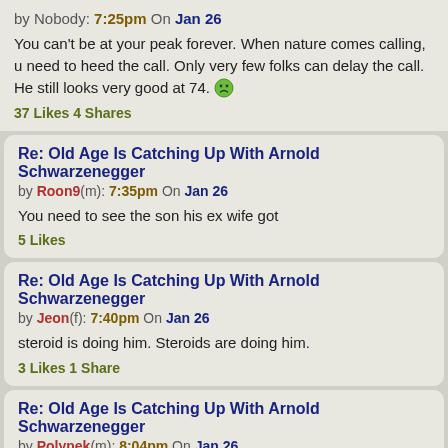by Nobody: 7:25pm On Jan 26
You can't be at your peak forever. When nature comes calling, u need to heed the call. Only very few folks can delay the call.
He still looks very good at 74. 😠
37 Likes 4 Shares
Re: Old Age Is Catching Up With Arnold Schwarzenegger
by Roon9(m): 7:35pm On Jan 26
You need to see the son his ex wife got
5 Likes
Re: Old Age Is Catching Up With Arnold Schwarzenegger
by Jeon(f): 7:40pm On Jan 26
steroid is doing him. Steroids are doing him.
3 Likes 1 Share
Re: Old Age Is Catching Up With Arnold Schwarzenegger
by Polynek(m): 8:04pm On Jan 26